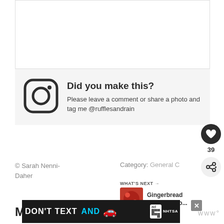[Figure (other): Blank white image box at top of page]
Did you make this?
Please leave a comment or share a photo and tag me @rufflesandrain
© Sarah Nenni-Daher
Category: General C
WHAT'S NEXT → Gingerbread House Maso...
More Gnome Crafts You
[Figure (infographic): DON'T TEXT AND drive advertisement banner with car emoji, ad tag, and NHTSA logo]